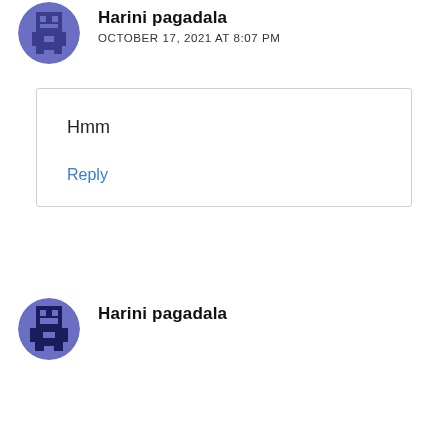[Figure (illustration): Pixel art avatar icon in blue/purple tones, circular crop, for user Harini pagadala (first comment)]
Harini pagadala
OCTOBER 17, 2021 AT 8:07 PM
Hmm
Reply
[Figure (illustration): Pixel art avatar icon in blue/dark blue tones, circular crop, for user Harini pagadala (second comment)]
Harini pagadala